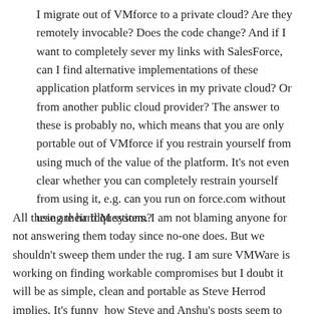I migrate out of VMforce to a private cloud? Are they remotely invocable? Does the code change? And if I want to completely sever my links with SalesForce, can I find alternative implementations of these application platform services in my private cloud? Or from another public cloud provider? The answer to these is probably no, which means that you are only portable out of VMforce if you restrain yourself from using much of the value of the platform. It's not even clear whether you can completely restrain yourself from using it, e.g. can you run on force.com without using their IdM system?
All these are hard questions. I am not blaming anyone for not answering them today since no-one does. But we shouldn't sweep them under the rug. I am sure VMWare is working on finding workable compromises but I doubt it will be as simple, clean and portable as Steve Herrod implies. It's funny  how Steve and Anshu's posts seem to reinforce and congratulate one another, until you realize that they are in large part talking about very different things. Anshu's is almost entirely about the force.com application platform services (sprinkled with some weird